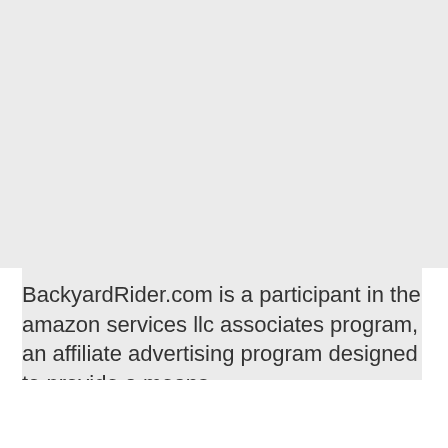BackyardRider.com is a participant in the amazon services llc associates program, an affiliate advertising program designed to provide a means